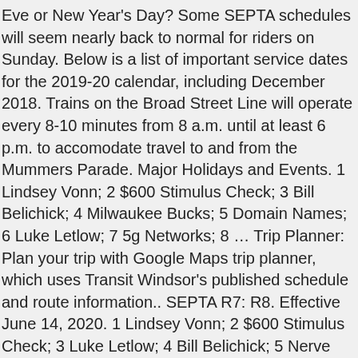Eve or New Year's Day? Some SEPTA schedules will seem nearly back to normal for riders on Sunday. Below is a list of important service dates for the 2019-20 calendar, including December 2018. Trains on the Broad Street Line will operate every 8-10 minutes from 8 a.m. until at least 6 p.m. to accomodate travel to and from the Mummers Parade. Major Holidays and Events. 1 Lindsey Vonn; 2 $600 Stimulus Check; 3 Bill Belichick; 4 Milwaukee Bucks; 5 Domain Names; 6 Luke Letlow; 7 5g Networks; 8 … Trip Planner: Plan your trip with Google Maps trip planner, which uses Transit Windsor's published schedule and route information.. SEPTA R7: R8. Effective June 14, 2020. 1 Lindsey Vonn; 2 $600 Stimulus Check; 3 Luke Letlow; 4 Bill Belichick; 5 Nerve Renew; 6 Croatia Earthquake; 7 Custom Masks; 8 Laptops Computers; 9